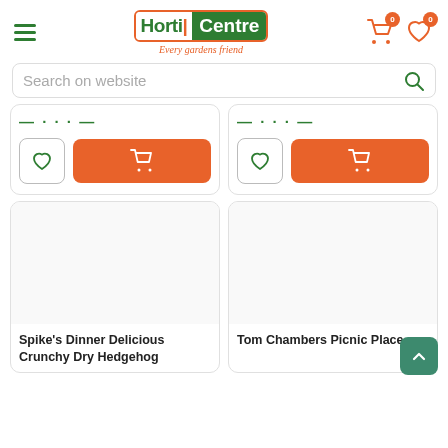[Figure (logo): HortiCentre logo with tagline 'Every gardens friend']
Search on website
[Figure (screenshot): Two partially visible product cards showing price (strikethrough), wishlist and add-to-cart buttons]
[Figure (screenshot): Product card: Spike's Dinner Delicious Crunchy Dry Hedgehog]
[Figure (screenshot): Product card: Tom Chambers Picnic Place]